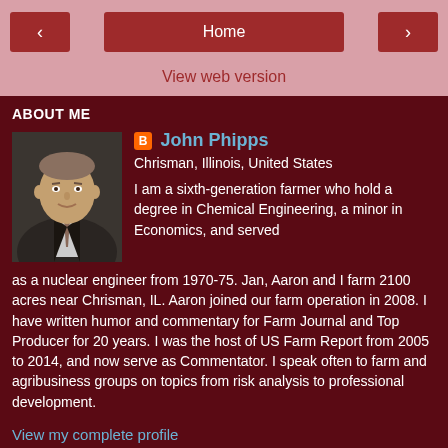< Home >
View web version
ABOUT ME
[Figure (photo): Profile photo of John Phipps, a man in a suit and tie]
John Phipps
Chrisman, Illinois, United States
I am a sixth-generation farmer who hold a degree in Chemical Engineering, a minor in Economics, and served as a nuclear engineer from 1970-75. Jan, Aaron and I farm 2100 acres near Chrisman, IL. Aaron joined our farm operation in 2008. I have written humor and commentary for Farm Journal and Top Producer for 20 years. I was the host of US Farm Report from 2005 to 2014, and now serve as Commentator. I speak often to farm and agribusiness groups on topics from risk analysis to professional development.
View my complete profile
Powered by Blogger.